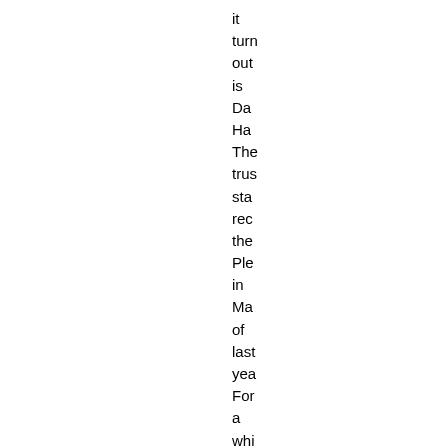it turn out is Da Ha The tru sta rec the Ple in Ma of last yea For a whi Ha que his